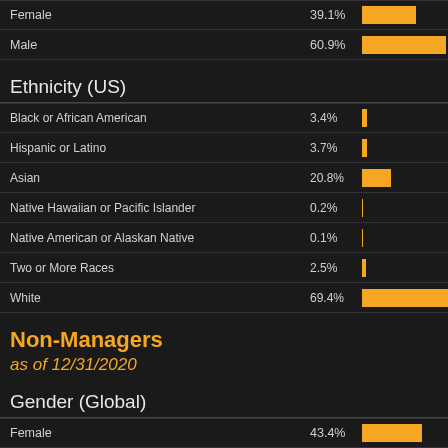[Figure (bar-chart): Gender (Global) - top section]
Ethnicity (US)
[Figure (bar-chart): Ethnicity (US)]
Non-Managers
as of 12/31/2020
Gender (Global)
[Figure (bar-chart): Gender (Global) - Non-Managers]